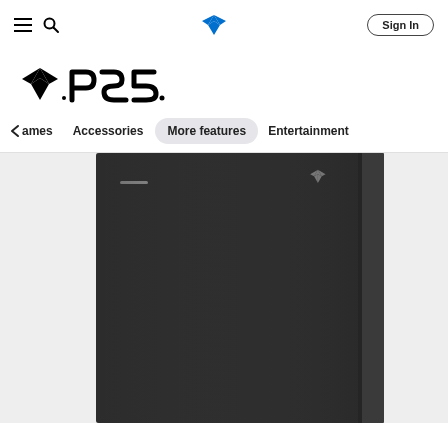PlayStation website navigation bar with hamburger menu, search icon, PlayStation logo, and Sign In button
[Figure (logo): PS5 logo with PlayStation symbol and PS5 text]
Navigation tabs: Games, Accessories, More features (active), Entertainment
[Figure (photo): PS5 console shown vertically in dark/black color with PlayStation logo on top right corner, minimalist product image on light grey background]